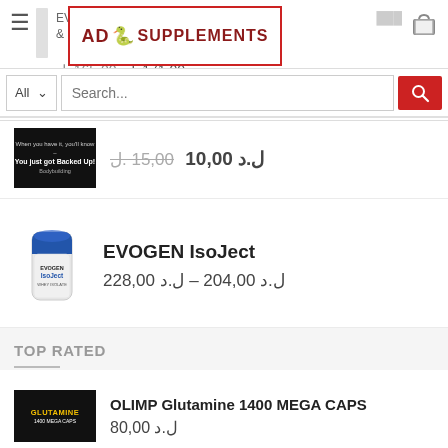EVOGEN Stimulant Free Digestive Cleanse & De... | AD Supplements
[Figure (logo): AD Supplements logo — red bordered rectangle with 'AD' and bodybuilder icon and 'SUPPLEMENTS' text in dark red]
ل.‎ 15,00  ل.‎ 10,00
Search... All
[Figure (photo): Black product image with white text 'When you have it, you'll know – You just got Backed Up! Bodybuilding']
ل.‎ 15,00  ل.د 10,00
[Figure (photo): EVOGEN IsoJect white protein powder container with blue lid]
EVOGEN IsoJect
ل.د 204,00 – ل.د 228,00
TOP RATED
[Figure (photo): OLIMP Glutamine 1400 MEGA CAPS black supplement box]
OLIMP Glutamine 1400 MEGA CAPS
ل.د 80,00
SHADOW SANDO